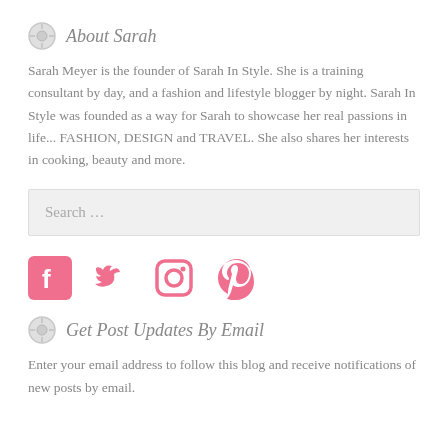About Sarah
Sarah Meyer is the founder of Sarah In Style. She is a training consultant by day, and a fashion and lifestyle blogger by night. Sarah In Style was founded as a way for Sarah to showcase her real passions in life... FASHION, DESIGN and TRAVEL. She also shares her interests in cooking, beauty and more.
[Figure (other): Search input box with placeholder text 'Search ...']
[Figure (other): Social media icons: Facebook, Twitter, Instagram, Pinterest — all in pink/coral color]
Get Post Updates By Email
Enter your email address to follow this blog and receive notifications of new posts by email.